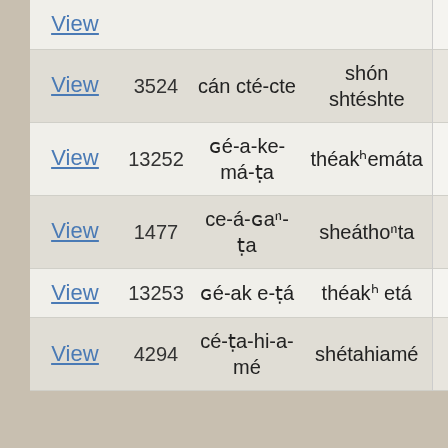|  |  |  |  |  |
| --- | --- | --- | --- | --- |
| View |  |  |  |  |
| View | 3524 | cáⁿ cté-cte | shóⁿ shtéshte |  |
| View | 13252 | ɢé-a-ke-má-ṭa | théakʰemáta |  |
| View | 1477 | ce-á-ɢaⁿ-ṭa | sheáthoⁿta |  |
| View | 13253 | ɢé-ak e-ṭá | théakʰ etá |  |
| View | 4294 | cé-ṭa-hi-a-mé | shétahiamé |  |